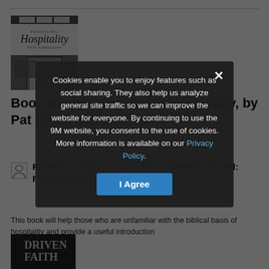[Figure (photo): Book cover of 'Practicing Hospitality' showing decorative script title and a door image in black and white]
Book Review: Practicing Hospitality, by Pat Ennis and Lisa Tatlock
Review by Adrienne Lawrence | 9Marks Journal: Family & Parenting | 03.03.2010
This book will help those who are unfamiliar with the biblical basis of hospitality and provide a useful introduction
[Figure (photo): Partial image of a book with large text visible: DRIVEN FAITH]
Cookies enable you to enjoy features such as social sharing. They also help us analyze general site traffic so we can improve the website for everyone. By continuing to use the 9M website, you consent to the use of cookies. More information is available on our Privacy Policy.